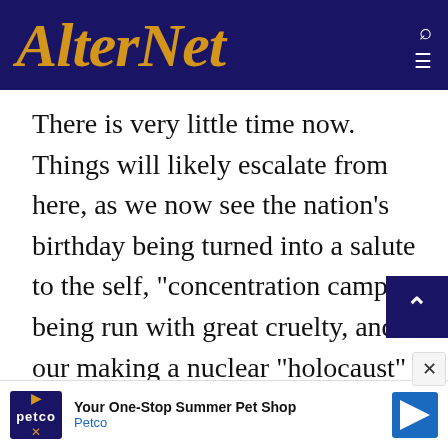AlterNet
There is very little time now. Things will likely escalate from here, as we now see the nation’s birthday being turned into a salute to the self, “concentration camps” being run with great cruelty, and our making a nuclear “holocaust” an ever greater possibility by sending a message to every rogue nation that develops nuclear weapons, as North Korea has done, is preferable to keeping a treaty, as Iran has done. This is how the chaos, violence, and fe
[Figure (other): Petco advertisement banner: 'Your One-Stop Summer Pet Shop' with Petco logo and blue arrow graphic]